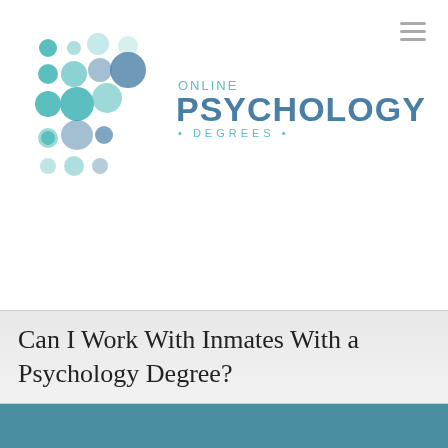[Figure (logo): Online Psychology Degrees logo with teal and blue dot grid pattern and text]
Can I Work With Inmates With a Psychology Degree?
I WANT MY
Bachelor's
IN
Psychology & Counseling